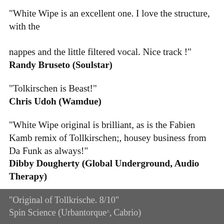"White Wipe is an excellent one. I love the structure, with the nappes and the little filtered vocal. Nice track !"
Randy Bruseto (Soulstar)
"Tolkirschen is Beast!"
Chris Udoh (Wamdue)
"White Wipe original is brilliant, as is the Fabien Kamb remix of Tollkirschen;, housey business from Da Funk as always!"
Dibby Dougherty (Global Underground, Audio Therapy)
"Original of Tollkrische. 8/10"
Spin Science (Urbantorque, Cabrio)